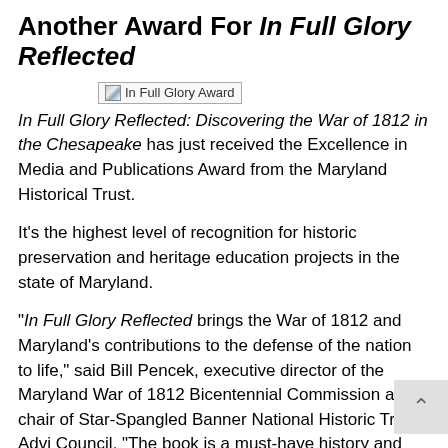Another Award For In Full Glory Reflected
[Figure (photo): Book award image placeholder labeled 'In Full Glory Award']
In Full Glory Reflected: Discovering the War of 1812 in the Chesapeake has just received the Excellence in Media and Publications Award from the Maryland Historical Trust.
It's the highest level of recognition for historic preservation and heritage education projects in the state of Maryland.
“In Full Glory Reflected brings the War of 1812 and Maryland’s contributions to the defense of the nation to life,” said Bill Pencek, executive director of the Maryland War of 1812 Bicentennial Commission and chair of Star-Spangled Banner National Historic Trail’s Advi Council. “The book is a must-have history and trave